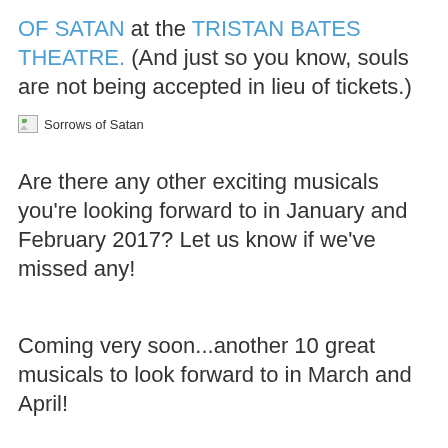OF SATAN at the TRISTAN BATES THEATRE. (And just so you know, souls are not being accepted in lieu of tickets.)
[Figure (other): Broken image placeholder with alt text 'Sorrows of Satan']
Are there any other exciting musicals you're looking forward to in January and February 2017? Let us know if we've missed any!
Coming very soon...another 10 great musicals to look forward to in March and April!